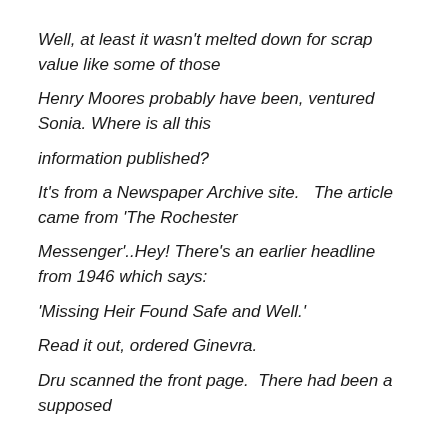Well, at least it wasn't melted down for scrap value like some of those
Henry Moores probably have been, ventured Sonia. Where is all this
information published?
It's from a Newspaper Archive site.  The article came from 'The Rochester
Messenger'..Hey! There's an earlier headline from 1946 which says:
'Missing Heir Found Safe and Well.'
Read it out, ordered Ginevra.
Dru scanned the front page.  There had been a supposed